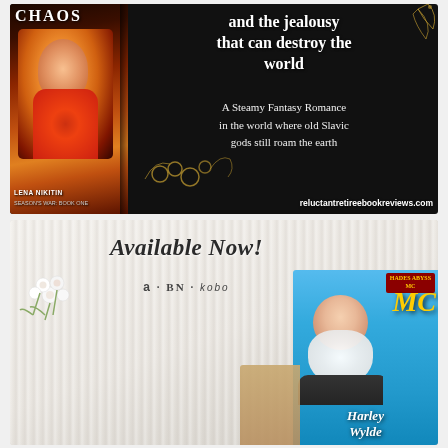[Figure (illustration): Dark fantasy romance book advertisement with book cover showing a woman in red dress, golden floral decorations, text overlay on black background: 'and the jealousy that can destroy the world. A Steamy Fantasy Romance in the world where old Slavic gods still roam the earth'. Author: Lena Nikitin, Season's War: Book One. URL: reluctantretireebookreviews.com]
[Figure (illustration): Book promotion advertisement with white knit textile background, white flowers, 'Available Now!' in script text, retailer logos (Amazon, B&N, Kobo), and a book cover for Harley Wylde's 'Hades Abyss MC' series]